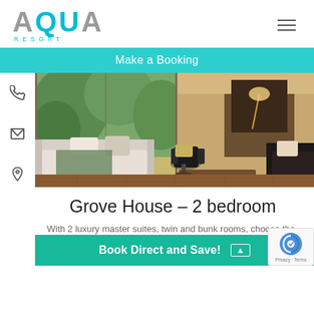[Figure (logo): AQUA RESORT logo with large grey AQUA text and cyan letters for Q and U, and small cyan RESORT text below]
Make a Booking
[Figure (photo): Interior of a luxury resort villa living room with white sofas, floor-to-ceiling glass doors opening to a garden, modern fireplace, and warm wooden decor]
Grove House – 2 bedroom
With 2 luxury master suites, twin and bunk rooms, choose the bedroom configuration that is right for you. Surround and garden and patio.
Book Direct and Save!